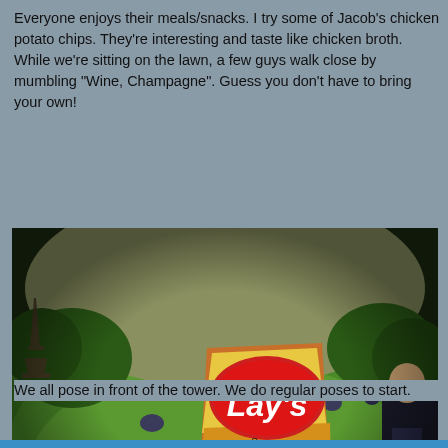Everyone enjoys their meals/snacks.  I try some of Jacob's chicken potato chips. They're interesting and taste like chicken broth. While we're sitting on the lawn, a few guys walk close by mumbling "Wine, Champagne". Guess you don't have to bring your own!
[Figure (photo): Fisheye photo taken from a person's perspective lying on a green lawn near the Eiffel Tower in Paris. A bag of Lay's potato chips 'Saveur Poulet Rôti' (Nouvelle Recette) is held up in the foreground. Other people are sitting on the grass in the background. Trees and the Eiffel Tower structure are visible.]
We all pose in front of the tower. We do regular poses to start.